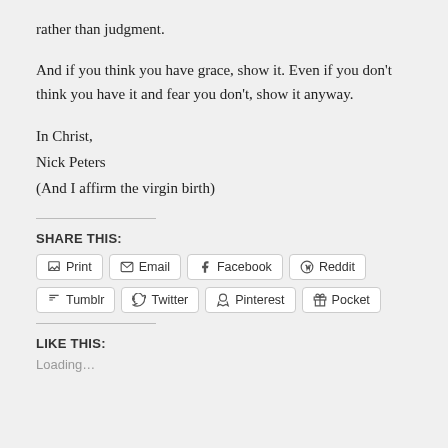rather than judgment.
And if you think you have grace, show it. Even if you don’t think you have it and fear you don’t, show it anyway.
In Christ,
Nick Peters
(And I affirm the virgin birth)
SHARE THIS:
Print  Email  Facebook  Reddit  Tumblr  Twitter  Pinterest  Pocket
LIKE THIS:
Loading…